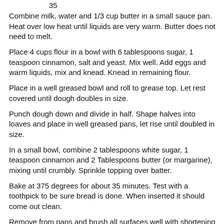35
Combine milk, water and 1/3 cup butter in a small sauce pan. Heat over low heat until liquids are very warm. Butter does not need to melt.
Place 4 cups flour in a bowl with 6 tablespoons sugar, 1 teaspoon cinnamon, salt and yeast. Mix well. Add eggs and warm liquids, mix and knead. Knead in remaining flour.
Place in a well greased bowl and roll to grease top. Let rest covered until dough doubles in size.
Punch dough down and divide in half. Shape halves into loaves and place in well greased pans, let rise until doubled in size.
In a small bowl, combine 2 tablespoons white sugar, 1 teaspoon cinnamon and 2 Tablespoons butter (or margarine), mixing until crumbly. Sprinkle topping over batter.
Bake at 375 degrees for about 35 minutes. Test with a toothpick to be sure bread is done. When inserted it should come out clean.
Remove from pans and brush all surfaces well with shortening or cooking oil.
This recipe makes 2 loaves of bread loaded with cinnamon flavor.